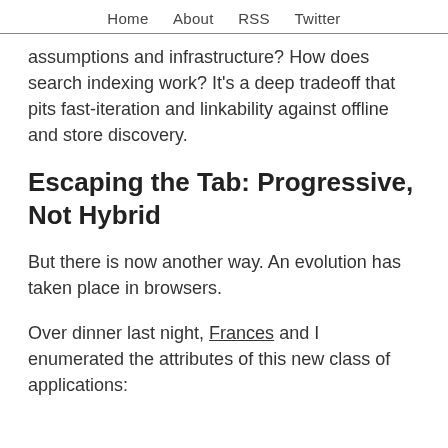Home   About   RSS   Twitter
assumptions and infrastructure? How does search indexing work? It's a deep tradeoff that pits fast-iteration and linkability against offline and store discovery.
Escaping the Tab: Progressive, Not Hybrid
But there is now another way. An evolution has taken place in browsers.
Over dinner last night, Frances and I enumerated the attributes of this new class of applications: